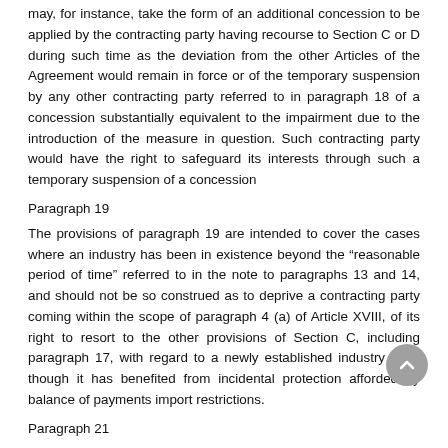may, for instance, take the form of an additional concession to be applied by the contracting party having recourse to Section C or D during such time as the deviation from the other Articles of the Agreement would remain in force or of the temporary suspension by any other contracting party referred to in paragraph 18 of a concession substantially equivalent to the impairment due to the introduction of the measure in question. Such contracting party would have the right to safeguard its interests through such a temporary suspension of a concession
Paragraph 19
The provisions of paragraph 19 are intended to cover the cases where an industry has been in existence beyond the “reasonable period of time” referred to in the note to paragraphs 13 and 14, and should not be so construed as to deprive a contracting party coming within the scope of paragraph 4 (a) of Article XVIII, of its right to resort to the other provisions of Section C, including paragraph 17, with regard to a newly established industry even though it has benefited from incidental protection afforded by balance of payments import restrictions.
Paragraph 21
Any measure taken pursuant to the provisions of paragraph 21 shall be withdrawn forthwith if the action